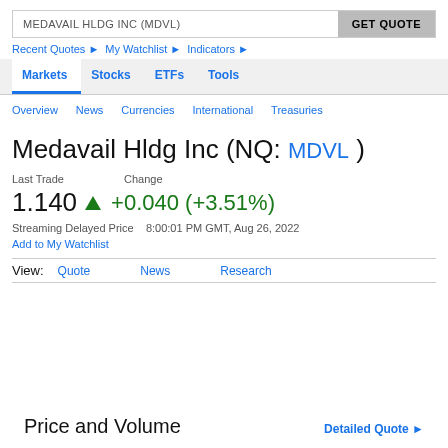MEDAVAIL HLDG INC (MDVL)
Recent Quotes ▶  My Watchlist ▶  Indicators ▶
Markets  Stocks  ETFs  Tools
Overview  News  Currencies  International  Treasuries
Medavail Hldg Inc (NQ: MDVL)
Last Trade    Change
1.140   ▲ +0.040 (+3.51%)
Streaming Delayed Price  8:00:01 PM GMT, Aug 26, 2022
Add to My Watchlist
View:  Quote    News    Research
Price and Volume    Detailed Quote ▶